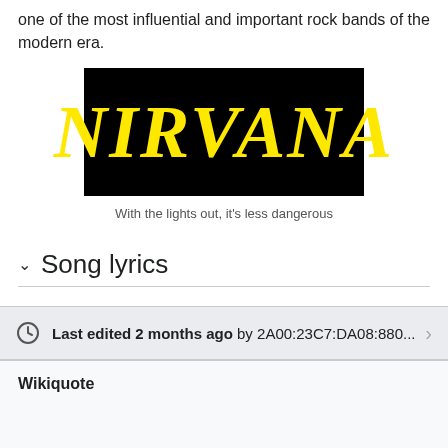one of the most influential and important rock bands of the modern era.
[Figure (logo): Nirvana band logo — bold yellow italic serif text 'NIRVANA' on a black background]
With the lights out, it's less dangerous
Song lyrics
External links
Last edited 2 months ago by 2A00:23C7:DA08:880...
Wikiquote